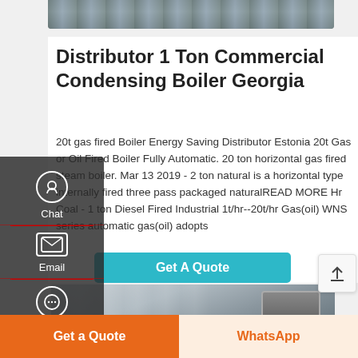[Figure (photo): Top partial photo of industrial boiler equipment, showing mechanical components, dark tones]
Distributor 1 Ton Commercial Condensing Boiler Georgia
20t gas fired Boiler Energy Saving Distributor Estonia 20t Gas or Oil Fired Boiler Fully Automatic. 20 ton horizontal gas fired steam boiler. Mar 13 2019 - 2 ton natural is a horizontal type internally fired three pass packaged naturalREAD MORE Hr Coal - 1 ton Diesel Fired Industrial 1t/hr--20t/hr Gas(oil) WNS series automatic gas(oil) adopts
[Figure (screenshot): Get A Quote teal/cyan button]
[Figure (photo): Bottom partial photo of industrial boiler/heating equipment, light grey corrugated panels with machinery on the right]
Get a Quote
WhatsApp